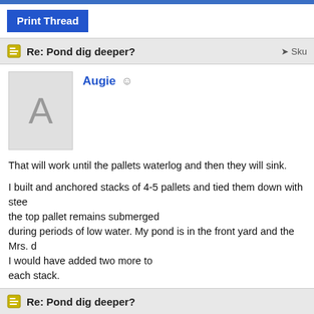Print Thread
Re: Pond dig deeper?
Augie
That will work until the pallets waterlog and then they will sink.
I built and anchored stacks of 4-5 pallets and tied them down with stee the top pallet remains submerged during periods of low water. My pond is in the front yard and the Mrs. d I would have added two more to each stack.
If you don't mind ugly you could use a piece of foam board insulation te anything that provides a submerged horizontal-ish surface will be used by FHM for spawning - downed tree
Re: Pond dig deeper?